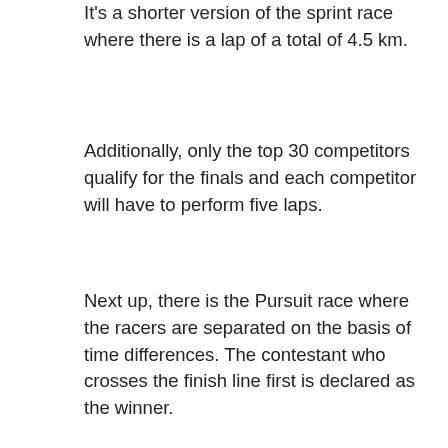It's a shorter version of the sprint race where there is a lap of a total of 4.5 km.
Additionally, only the top 30 competitors qualify for the finals and each competitor will have to perform five laps.
Next up, there is the Pursuit race where the racers are separated on the basis of time differences. The contestant who crosses the finish line first is declared as the winner.
Likewise, there are ample of games at every Biathlon sport. As viewers, you have the option to watch almost any type of Biathlon sporting event.